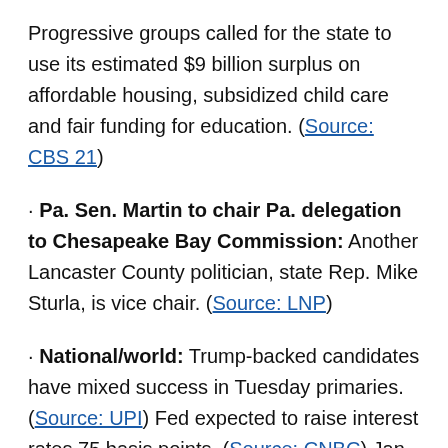Progressive groups called for the state to use its estimated $9 billion surplus on affordable housing, subsidized child care and fair funding for education. (Source: CBS 21)
Pa. Sen. Martin to chair Pa. delegation to Chesapeake Bay Commission: Another Lancaster County politician, state Rep. Mike Sturla, is vice chair. (Source: LNP)
National/world: Trump-backed candidates have mixed success in Tuesday primaries. (Source: UPI) Fed expected to raise interest rates 75 basis points. (Source: CNBC) Jan. 6 committee split on recommending criminal charges against Trump